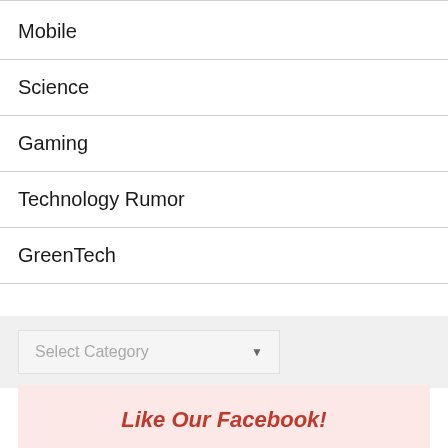Mobile
Science
Gaming
Technology Rumor
GreenTech
Select Category
Like Our Facebook!